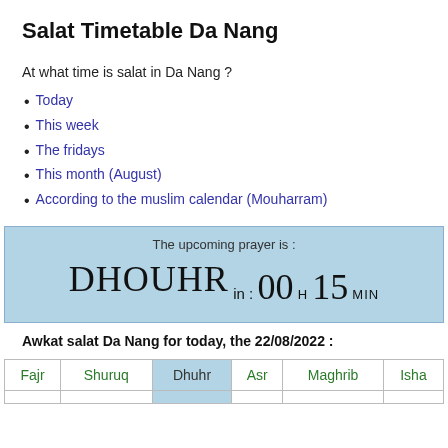Salat Timetable Da Nang
At what time is salat in Da Nang ?
Today
This week
The fridays
This month (August)
According to the muslim calendar (Mouharram)
The upcoming prayer is : DHOUHR in : 00 H 15 MIN
Awkat salat Da Nang for today, the 22/08/2022 :
| Fajr | Shuruq | Dhuhr | Asr | Maghrib | Isha |
| --- | --- | --- | --- | --- | --- |
|  |  |  |  |  |  |